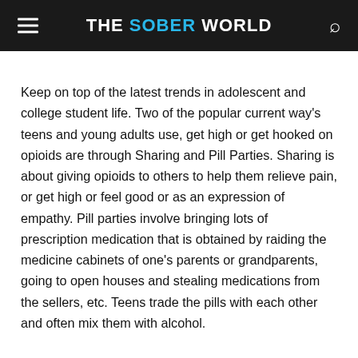THE SOBER WORLD
Keep on top of the latest trends in adolescent and college student life. Two of the popular current way's teens and young adults use, get high or get hooked on opioids are through Sharing and Pill Parties. Sharing is about giving opioids to others to help them relieve pain, or get high or feel good or as an expression of empathy. Pill parties involve bringing lots of prescription medication that is obtained by raiding the medicine cabinets of one's parents or grandparents, going to open houses and stealing medications from the sellers, etc. Teens trade the pills with each other and often mix them with alcohol.